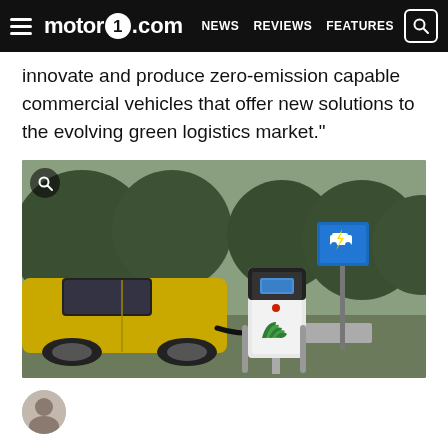motor1.com  NEWS  REVIEWS  FEATURES
innovate and produce zero-emission capable commercial vehicles that offer new solutions to the evolving green logistics market."
[Figure (photo): A yellow electric car plugged into a BP Polar charging station in a parking area surrounded by trees. A blue EV charging sign is visible on a post in the background.]
[Figure (photo): Partial view of a person's avatar/profile photo at the bottom of the page.]